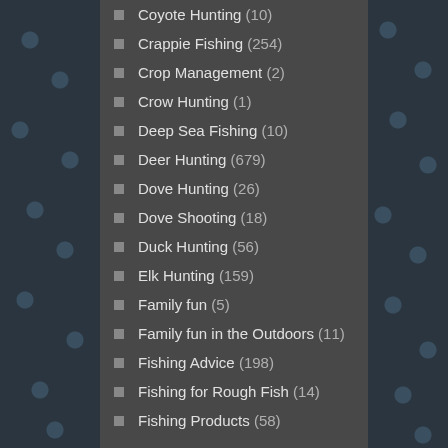Coyote Hunting (10)
Crappie Fishing (254)
Crop Management (2)
Crow Hunting (1)
Deep Sea Fishing (10)
Deer Hunting (679)
Dove Hunting (26)
Dove Shooting (18)
Duck Hunting (56)
Elk Hunting (159)
Family fun (5)
Family fun in the Outdoors (11)
Fishing Advice (198)
Fishing for Rough Fish (14)
Fishing Products (58)